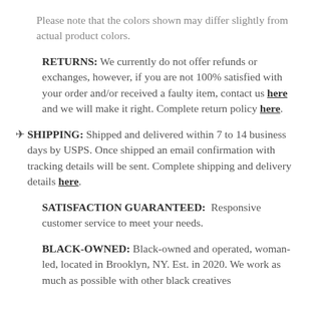Please note that the colors shown may differ slightly from actual product colors.
RETURNS: We currently do not offer refunds or exchanges, however, if you are not 100% satisfied with your order and/or received a faulty item, contact us here and we will make it right. Complete return policy here.
✈ SHIPPING: Shipped and delivered within 7 to 14 business days by USPS. Once shipped an email confirmation with tracking details will be sent. Complete shipping and delivery details here.
SATISFACTION GUARANTEED: Responsive customer service to meet your needs.
BLACK-OWNED: Black-owned and operated, woman-led, located in Brooklyn, NY. Est. in 2020. We work as much as possible with other black creatives